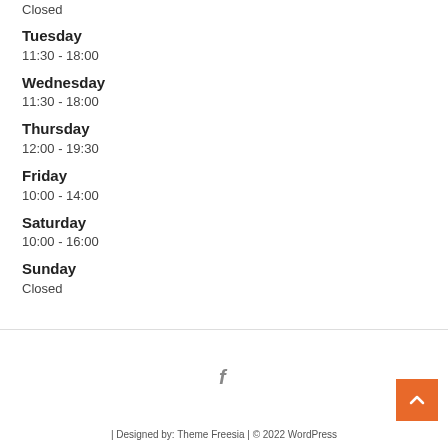Closed
Tuesday
11:30 - 18:00
Wednesday
11:30 - 18:00
Thursday
12:00 - 19:30
Friday
10:00 - 14:00
Saturday
10:00 - 16:00
Sunday
Closed
| Designed by: Theme Freesia | © 2022 WordPress